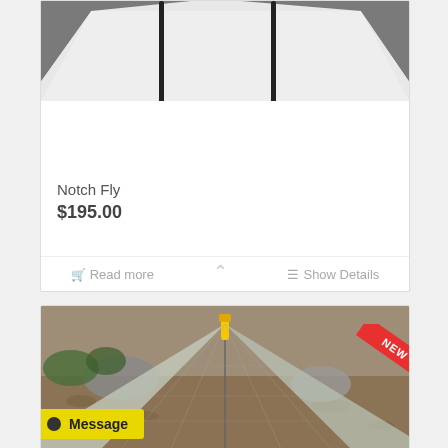[Figure (photo): Partial top view of a tent fly with black poles against a light grey background]
Notch Fly
$195.00
Read more
Show Details
[Figure (photo): Ultralight tent inner (mesh) set up outdoors on dirt/leaves with rocks and greenery in background. 'NEW' red ribbon in top-right corner.]
Message